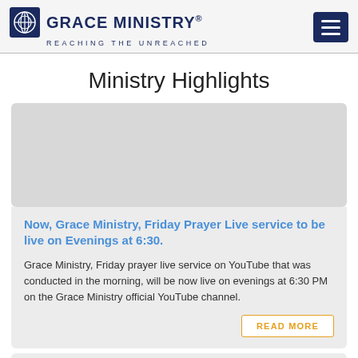GRACE MINISTRY® REACHING THE UNREACHED
Ministry Highlights
[Figure (photo): Image placeholder within card, light grey background]
Now, Grace Ministry, Friday Prayer Live service to be live on Evenings at 6:30.
Grace Ministry, Friday prayer live service on YouTube that was conducted in the morning, will be now live on evenings at 6:30 PM on the Grace Ministry official YouTube channel.
READ MORE